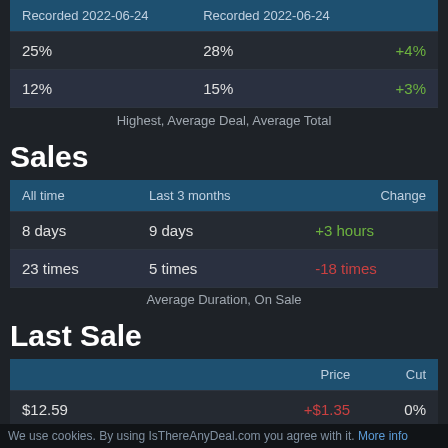|  | Recorded 2022-06-24 | Recorded 2022-06-24 |  |
| --- | --- | --- | --- |
| 25% | 28% | +4% |
| 12% | 15% | +3% |
Highest, Average Deal, Average Total
Sales
| All time | Last 3 months | Change |
| --- | --- | --- |
| 8 days | 9 days | +3 hours |
| 23 times | 5 times | -18 times |
Average Duration, On Sale
Last Sale
|  | Price | Cut |
| --- | --- | --- |
| $12.59 | +$1.35 | 0% |
We use cookies. By using IsThereAnyDeal.com you agree with it. More info